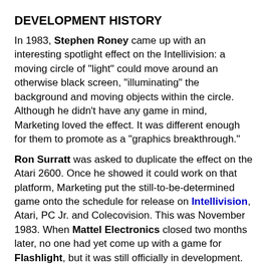DEVELOPMENT HISTORY
In 1983, Stephen Roney came up with an interesting spotlight effect on the Intellivision: a moving circle of "light" could move around an otherwise black screen, "illuminating" the background and moving objects within the circle. Although he didn't have any game in mind, Marketing loved the effect. It was different enough for them to promote as a "graphics breakthrough."
Ron Surratt was asked to duplicate the effect on the Atari 2600. Once he showed it could work on that platform, Marketing put the still-to-be-determined game onto the schedule for release on Intellivision, Atari, PC Jr. and Colecovision. This was November 1983. When Mattel Electronics closed two months later, no one had yet come up with a game for Flashlight, but it was still officially in development.